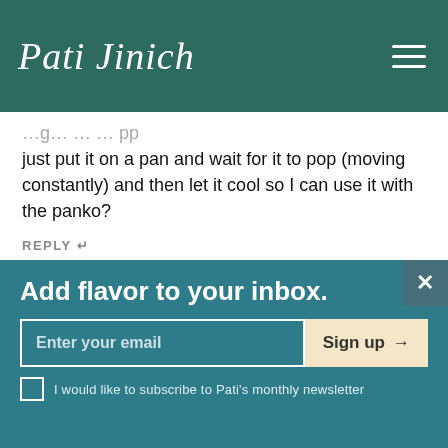Pati Jinich
just put it on a pan and wait for it to pop (moving constantly) and then let it cool so I can use it with the panko?
REPLY
Pati Jinich OCT 03
That's a great questions, Susan. You can add it directly with the panko, and it pops as it fries...enjoy!
Add flavor to your inbox.
Enter your email
Sign up →
I would like to subscribe to Pati's monthly newsletter